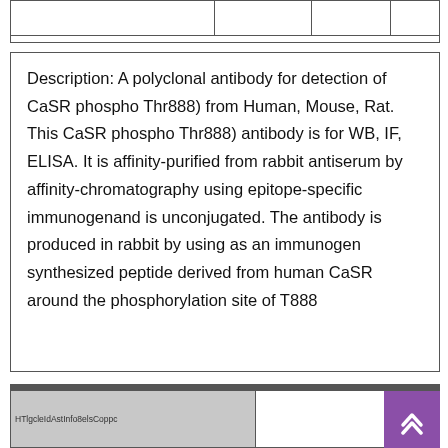|  |  |  |  |
| --- | --- | --- | --- |
|  |  |  |  |
Description: A polyclonal antibody for detection of CaSR phospho Thr888) from Human, Mouse, Rat. This CaSR phospho Thr888) antibody is for WB, IF, ELISA. It is affinity-purified from rabbit antiserum by affinity-chromatography using epitope-specific immunogenand is unconjugated. The antibody is produced in rabbit by using as an immunogen synthesized peptide derived from human CaSR around the phosphorylation site of T888
[Figure (screenshot): Partial view of a table or UI component with a gray cell on the left containing small text 'HTlgcleIdAstInfo8elsCoppc...' and a white area on the right, with a dark header bar at top and a purple scroll-to-top button at bottom right.]